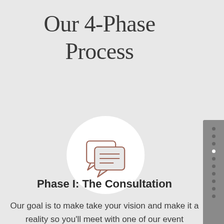Our 4-Phase Process
[Figure (illustration): Chat/consultation speech bubble icon inside a white circle on a light gray background]
Phase I: The Consultation
Our goal is to make take your vision and make it a reality so you'll meet with one of our event